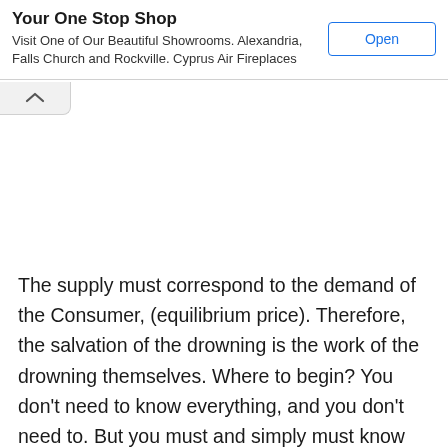Your One Stop Shop
Visit One of Our Beautiful Showrooms. Alexandria, Falls Church and Rockville. Cyprus Air Fireplaces
The supply must correspond to the demand of the Consumer, (equilibrium price). Therefore, the salvation of the drowning is the work of the drowning themselves. Where to begin? You don't need to know everything, and you don't need to. But you must and simply must know what you cannot but know – these are the rules and